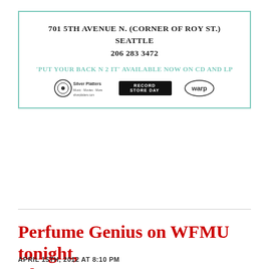[Figure (infographic): Advertisement box with teal border. Contains address '701 5TH AVENUE N. (CORNER OF ROY ST.) SEATTLE 206 283 3472', promotional text "'PUT YOUR BACK N 2 IT' AVAILABLE NOW ON CD AND LP", and logos for Silver Platters, Record Store Day, and another vendor.]
Perfume Genius on WFMU tonight, The Current tomorrow
APRIL 15TH, 2012 AT 8:10 PM